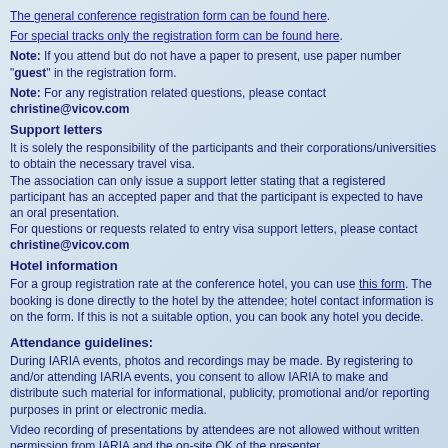The general conference registration form can be found here.
For special tracks only the registration form can be found here.
Note: If you attend but do not have a paper to present, use paper number "guest" in the registration form.
Note: For any registration related questions, please contact christine@vicov.com
Support letters
It is solely the responsibility of the participants and their corporations/universities to obtain the necessary travel visa.
The association can only issue a support letter stating that a registered participant has an accepted paper and that the participant is expected to have an oral presentation.
For questions or requests related to entry visa support letters, please contact christine@vicov.com
Hotel information
For a group registration rate at the conference hotel, you can use this form. The booking is done directly to the hotel by the attendee; hotel contact information is on the form. If this is not a suitable option, you can book any hotel you decide.
Attendance guidelines:
During IARIA events, photos and recordings may be made. By registering to and/or attending IARIA events, you consent to allow IARIA to make and distribute such material for informational, publicity, promotional and/or reporting purposes in print or electronic media.
Video recording of presentations by attendees are not allowed without written permission from IARIA and the on-site OK of the presenter.
Copyrighted presentation material may be photographed or copied for personal